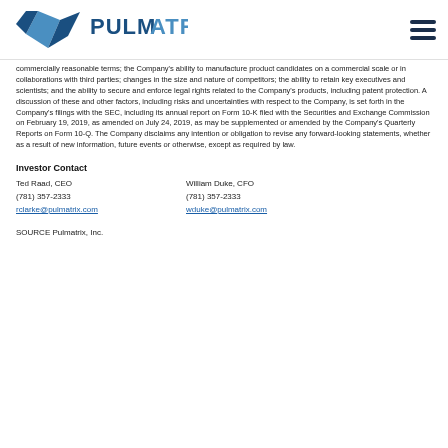PULMATRIX [logo]
commercially reasonable terms; the Company's ability to manufacture product candidates on a commercial scale or in collaborations with third parties; changes in the size and nature of competitors; the ability to retain key executives and scientists; and the ability to secure and enforce legal rights related to the Company's products, including patent protection. A discussion of these and other factors, including risks and uncertainties with respect to the Company, is set forth in the Company's filings with the SEC, including its annual report on Form 10-K filed with the Securities and Exchange Commission on February 19, 2019, as amended on July 24, 2019, as may be supplemented or amended by the Company's Quarterly Reports on Form 10-Q. The Company disclaims any intention or obligation to revise any forward-looking statements, whether as a result of new information, future events or otherwise, except as required by law.
Investor Contact
Ted Raad, CEO	(781) 357-2333	rclarke@pulmatrix.com
William Duke, CFO	(781) 357-2333	wduke@pulmatrix.com
SOURCE Pulmatrix, Inc.